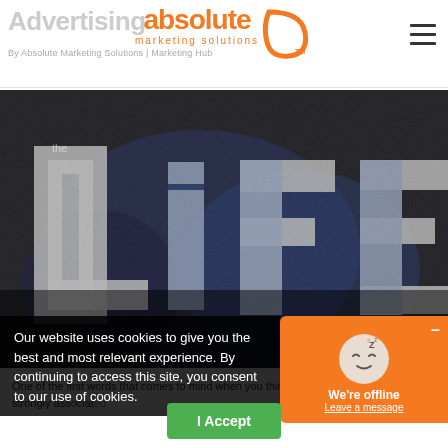Advertising
By Absolute Marketing Solutions | Marketing Hub
[Figure (logo): Absolute Marketing Solutions logo in orange with swoosh, TM mark]
[Figure (photo): Graffiti image showing the word 'LiFE' in large letters painted on a dark textured background with blue and white color variations]
Our website uses cookies to give you the best and most relevant experience. By continuing to access this site, you consent to our use of cookies.
We're offline
Leave a message
I Accept
One of the first words that comes to mind when you think of online advertising is strongly associated